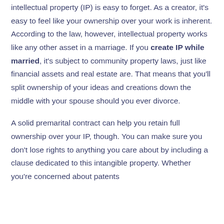intellectual property (IP) is easy to forget. As a creator, it's easy to feel like your ownership over your work is inherent. According to the law, however, intellectual property works like any other asset in a marriage. If you create IP while married, it's subject to community property laws, just like financial assets and real estate are. That means that you'll split ownership of your ideas and creations down the middle with your spouse should you ever divorce.
A solid premarital contract can help you retain full ownership over your IP, though. You can make sure you don't lose rights to anything you care about by including a clause dedicated to this intangible property. Whether you're concerned about patents